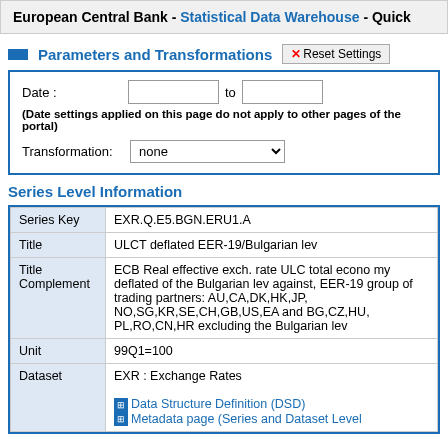European Central Bank - Statistical Data Warehouse - Quick
Parameters and Transformations
Date :
(Date settings applied on this page do not apply to other pages of the portal)
Transformation:
Series Level Information
|  |  |
| --- | --- |
| Series Key | EXR.Q.E5.BGN.ERU1.A |
| Title | ULCT deflated EER-19/Bulgarian lev |
| Title Complement | ECB Real effective exch. rate ULC total economy deflated of the Bulgarian lev against, EER-19 group of trading partners: AU,CA,DK,HK,JP,NO,SG,KR,SE,CH,GB,US,EA and BG,CZ,HU,PL,RO,CN,HR excluding the Bulgarian lev |
| Unit | 99Q1=100 |
| Dataset | EXR : Exchange Rates

Data Structure Definition (DSD)
Metadata page (Series and Dataset Level |